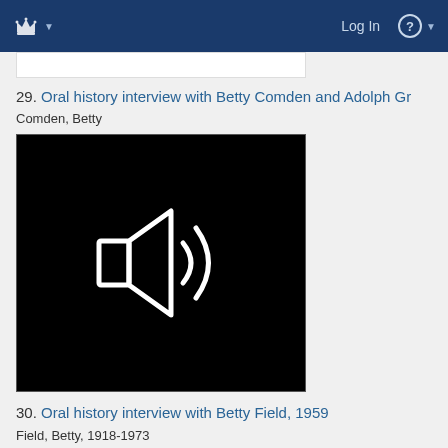Log In
[Figure (screenshot): Partial white thumbnail image from item 28 (top portion cut off)]
29. Oral history interview with Betty Comden and Adolph Gr…
Comden, Betty
[Figure (other): Black audio player thumbnail with white speaker/sound icon]
30. Oral history interview with Betty Field, 1959
Field, Betty, 1918-1973